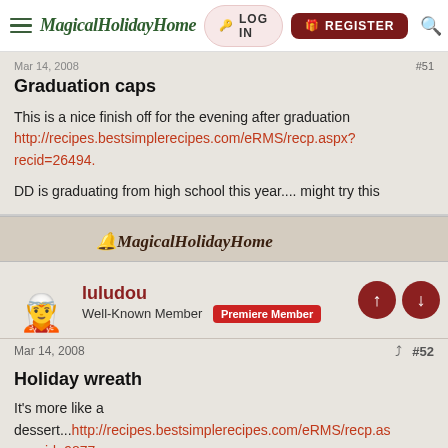MagicalHolidayHome  LOG IN  REGISTER
Mar 14, 2008  #51
Graduation caps
This is a nice finish off for the evening after graduation http://recipes.bestsimplerecipes.com/eRMS/recp.aspx?recid=26494.
DD is graduating from high school this year.... might try this
[Figure (logo): MagicalHolidayHome banner strip with logo text and decorative bells]
luludou
Well-Known Member  Premiere Member
Mar 14, 2008  #52
Holiday wreath
It's more like a dessert...http://recipes.bestsimplerecipes.com/eRMS/recp.as
...recid=9877